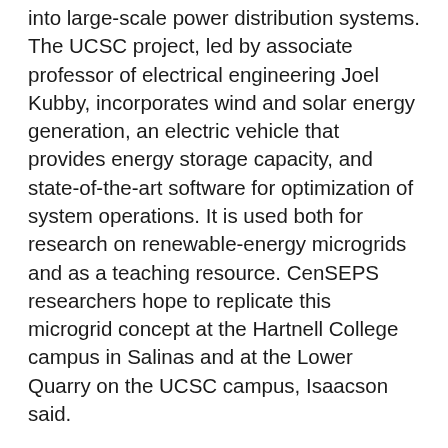into large-scale power distribution systems. The UCSC project, led by associate professor of electrical engineering Joel Kubby, incorporates wind and solar energy generation, an electric vehicle that provides energy storage capacity, and state-of-the-art software for optimization of system operations. It is used both for research on renewable-energy microgrids and as a teaching resource. CenSEPS researchers hope to replicate this microgrid concept at the Hartnell College campus in Salinas and at the Lower Quarry on the UCSC campus, Isaacson said.
On the academic side, the center is creating a new curriculum in the Baskin School of Engineering focused on sustainable energy technology, electric power systems, power electronics, and resource planning. According to studies from the U.S. Department of Energy and other national organizations, a serious need is emerging for more power and energy engineers to replace retiring engineers, modernize the grid, and solve engineering